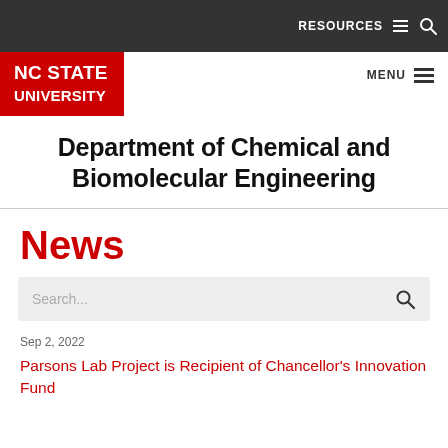RESOURCES  ☰  🔍
[Figure (logo): NC STATE UNIVERSITY logo in white text on red background]
MENU ☰
Department of Chemical and Biomolecular Engineering
News
Search...
Sep 2, 2022
Parsons Lab Project is Recipient of Chancellor's Innovation Fund